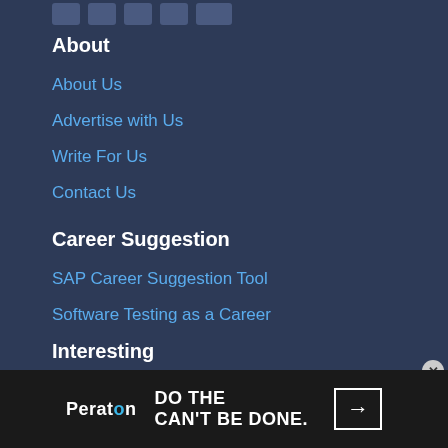[Figure (illustration): Social media icon buttons at the top (Facebook, Twitter, LinkedIn, and others) as small rectangular icon boxes]
About
About Us
Advertise with Us
Write For Us
Contact Us
Career Suggestion
SAP Career Suggestion Tool
Software Testing as a Career
Interesting
eBook
Blog
Quiz
[Figure (illustration): Peraton advertisement banner at the bottom. Black background. Peraton logo with teal dot. Tagline: DO THE CAN'T BE DONE. Arrow button on right.]